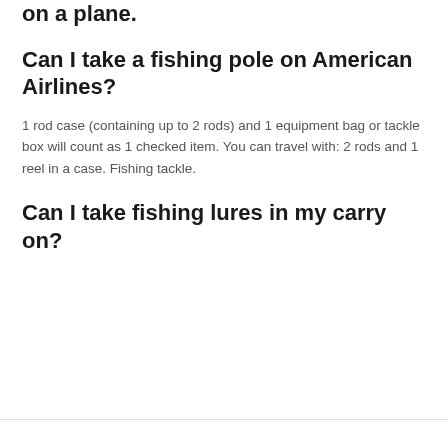on a plane.
Can I take a fishing pole on American Airlines?
1 rod case (containing up to 2 rods) and 1 equipment bag or tackle box will count as 1 checked item. You can travel with: 2 rods and 1 reel in a case. Fishing tackle.
Can I take fishing lures in my carry on?